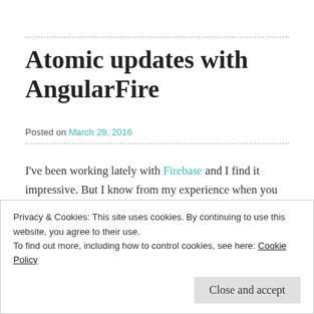Atomic updates with AngularFire
Posted on March 29, 2016
I've been working lately with Firebase and I find it impressive. But I know from my experience when you are new to a framework or library it's not easy to piece it together.
Privacy & Cookies: This site uses cookies. By continuing to use this website, you agree to their use.
To find out more, including how to control cookies, see here: Cookie Policy
Close and accept